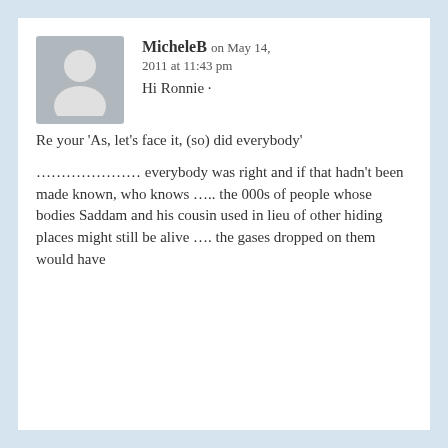[Figure (illustration): Gray avatar placeholder image showing a generic person silhouette]
MicheleB on May 14, 2011 at 11:43 pm
Hi Ronnie ·
Re your 'As, let's face it, (so) did everybody'
………………… everybody was right and if that hadn't been made known, who knows ….. the 000s of people whose bodies Saddam and his cousin used in lieu of other hiding places might still be alive …. the gases dropped on them would have